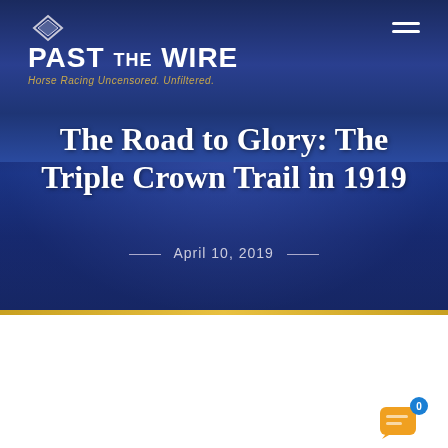Past The Wire – Horse Racing Uncensored. Unfiltered.
The Road to Glory: The Triple Crown Trail in 1919
April 10, 2019
[Figure (advertisement): By My Standards advertisement banner – 'The best son of Into Mischief's best sire.' Spendthrift Farm logo on right, horse image in center.]
[Figure (infographic): Social share buttons: Facebook (blue), Twitter (light blue), Pinterest (red), Email (gray), Share (green). Chat widget with 0 badge in bottom right.]